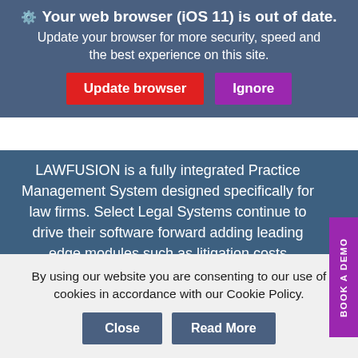[Figure (screenshot): Browser update warning banner with blue-grey background, gear icon, bold text 'Your web browser (iOS 11) is out of date.', subtext 'Update your browser for more security, speed and the best experience on this site.', and two buttons: 'Update browser' (red) and 'Ignore' (purple).]
LAWFUSION is a fully integrated Practice Management System designed specifically for law firms. Select Legal Systems continue to drive their software forward adding leading edge modules such as litigation costs management, digital court bundle generator and the LAWFUSION App for the iPad and iPhone for fee
[Figure (other): Vertical purple side tab with text 'BOOK A DEMO' rotated vertically]
By using our website you are consenting to our use of cookies in accordance with our Cookie Policy.